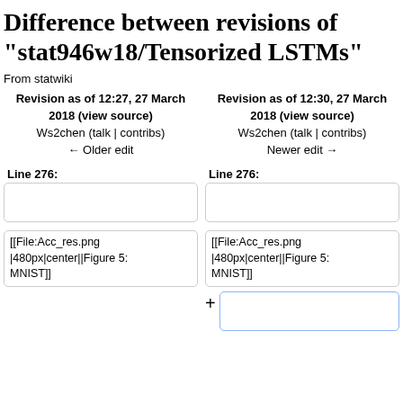Difference between revisions of "stat946w18/Tensorized LSTMs"
From statwiki
| Left | Right |
| --- | --- |
| Revision as of 12:27, 27 March 2018 (view source)
Ws2chen (talk | contribs)
← Older edit | Revision as of 12:30, 27 March 2018 (view source)
Ws2chen (talk | contribs)
Newer edit → |
Line 276:
Line 276:
[[File:Acc_res.png |480px|center||Figure 5: MNIST]]
[[File:Acc_res.png |480px|center||Figure 5: MNIST]]